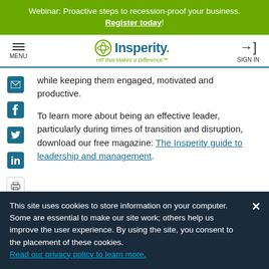Webinar: Proactive steps to recession-proof your business. Register today!
[Figure (logo): Insperity logo with tagline 'HR that Makes a Difference' and navigation menu and sign in icons]
while keeping them engaged, motivated and productive.
To learn more about being an effective leader, particularly during times of transition and disruption, download our free magazine: The Insperity guide to leadership and management.
This site uses cookies to store information on your computer. Some are essential to make our site work; others help us improve the user experience. By using the site, you consent to the placement of these cookies. Read our privacy policy to learn more.